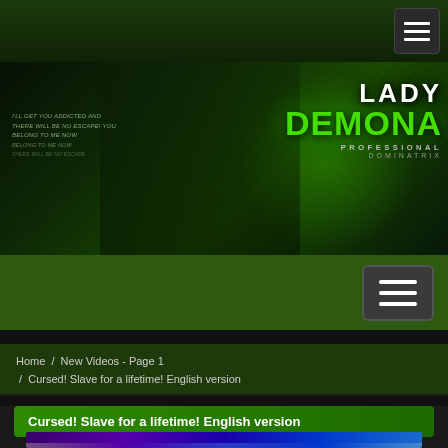Navigation bar with hamburger menu
[Figure (photo): Banner image of Lady Demona, a tattooed blonde woman in black leather against a green snake-skin background. Text reads: I'LL GET YOU ADDICTED AND THERE WILL BE NO ESCAPE! YOU BELONG TO ME NOW BELONG TO ME NOW THERE WILL BE NO ESCAPE. Logo: LADY DEMONA PROFESSIONAL DOMINATRIX]
Secondary navigation bar with hamburger menu
Home /  New Videos - Page 1  /  Cursed! Slave for a lifetime! English version
Cursed! Slave for a lifetime! English version
[Figure (screenshot): Thumbnail image showing a dungeon-style room with purple/blue neon LED lighting]